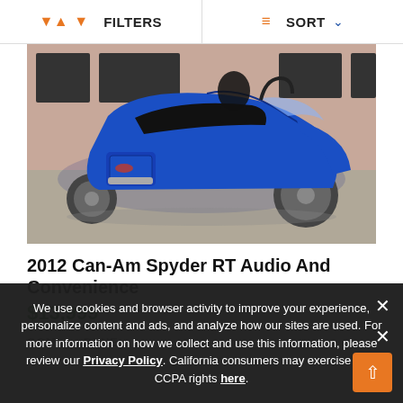FILTERS   SORT
[Figure (photo): Blue 2012 Can-Am Spyder RT three-wheeled motorcycle parked outdoors, side profile view]
2012 Can-Am Spyder RT Audio And Convenience
$13,999
CCM   BLUE
We use cookies and browser activity to improve your experience, personalize content and ads, and analyze how our sites are used. For more information on how we collect and use this information, please review our Privacy Policy. California consumers may exercise their CCPA rights here.